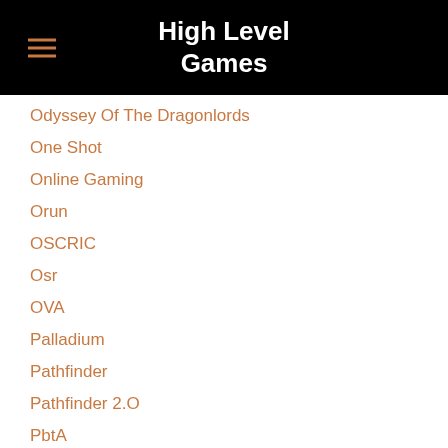High Level Games
Odyssey Of The Dragonlords
One Shot
Online Gaming
Orun
OSCRIC
Osr
OVA
Palladium
Pathfinder
Pathfinder 2.O
PbtA
PDQ
Pire: The Masquerade 5th Edition
Play By Post
Player Tips
Podcasts